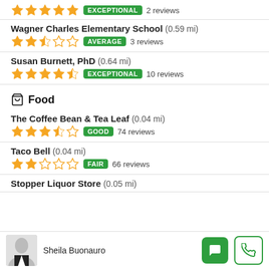5 stars EXCEPTIONAL 2 reviews
Wagner Charles Elementary School (0.59 mi) 2.5 stars AVERAGE 3 reviews
Susan Burnett, PhD (0.64 mi) 4.5 stars EXCEPTIONAL 10 reviews
Food
The Coffee Bean & Tea Leaf (0.04 mi) 3.5 stars GOOD 74 reviews
Taco Bell (0.04 mi) 2 stars FAIR 66 reviews
Stopper Liquor Store (0.05 mi)
Sheila Buonauro